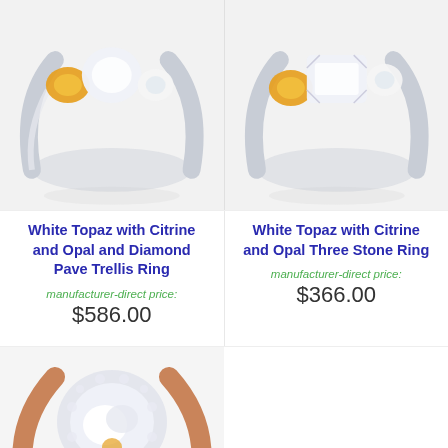[Figure (photo): Photo of a White Topaz with Citrine and Opal and Diamond Pave Trellis Ring on white background]
[Figure (photo): Photo of a White Topaz with Citrine and Opal Three Stone Ring on white background]
White Topaz with Citrine and Opal and Diamond Pave Trellis Ring
manufacturer-direct price:
$586.00
White Topaz with Citrine and Opal Three Stone Ring
manufacturer-direct price:
$366.00
[Figure (photo): Partial photo of a ring with rose gold band featuring white and citrine stones]
[Figure (logo): TrustedSite certified secure badge]